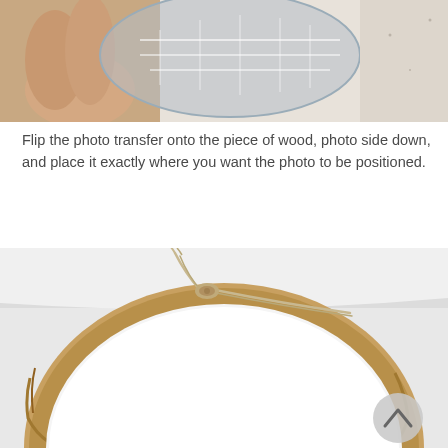[Figure (photo): Photo of a hand holding a transparent photo transfer disc/circle against a light surface, showing the transfer being prepared]
Flip the photo transfer onto the piece of wood, photo side down, and place it exactly where you want the photo to be positioned.
[Figure (photo): Photo of a round wood slice disc with a white surface (photo transfer placed face down on it) and a twine/jute string hanging off the top, viewed from above on a white background. A circular arrow-up button is visible in the bottom right corner.]